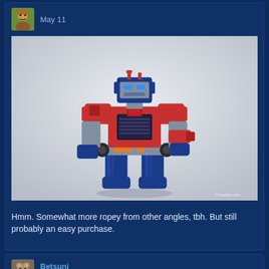May 11
[Figure (photo): A Transformers Optimus Prime action figure / toy in robot mode, predominantly red and blue with gray accents, posed against a light gray background. The figure is detailed and articulated.]
Hmm. Somewhat more ropey from other angles, tbh. But still probably an easy purchase.
Betsuni
May 11